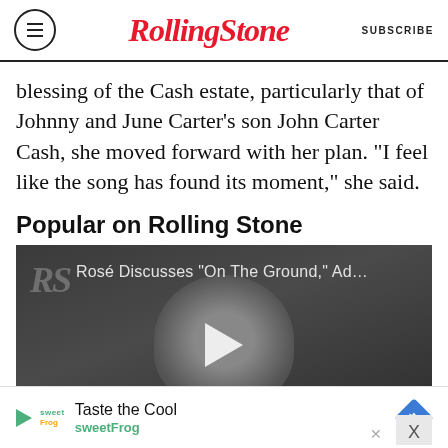RollingStone | SUBSCRIBE
blessing of the Cash estate, particularly that of Johnny and June Carter’s son John Carter Cash, she moved forward with her plan. “I feel like the song has found its moment,” she said.
Popular on Rolling Stone
[Figure (screenshot): Video thumbnail showing Rosé Discusses "On The Ground," Ad... - black and white video frame with Rolling Stone RS watermark, a woman smiling, play button overlay, and THE FIRST TIME red banner at bottom]
Taste the Cool
sweetFrog